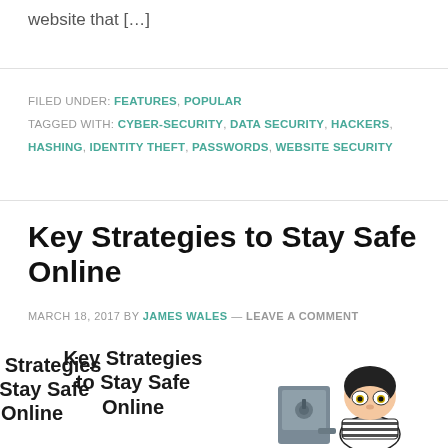website that […]
FILED UNDER: FEATURES, POPULAR
TAGGED WITH: CYBER-SECURITY, DATA SECURITY, HACKERS, HASHING, IDENTITY THEFT, PASSWORDS, WEBSITE SECURITY
Key Strategies to Stay Safe Online
MARCH 18, 2017 BY JAMES WALES — LEAVE A COMMENT
[Figure (illustration): Blog article header image showing 'Key Strategies to Stay Safe Online' text with a cartoon burglar character next to a safe]